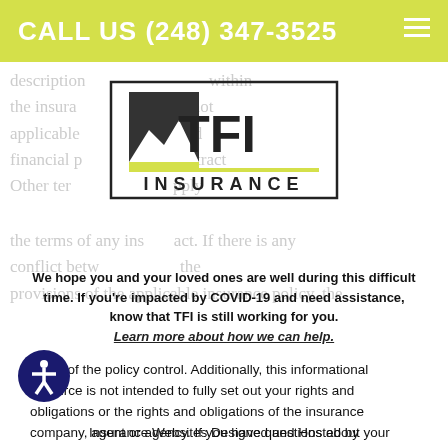CALL US (248) 347-3525
[Figure (logo): TFI Insurance logo with mountain graphic and 'INSURANCE' text]
We hope you and your loved ones are well during this difficult time. If you're impacted by COVID-19 and need assistance, know that TFI is still working for you. Learn more about how we can help.
terms of the policy control. Additionally, this informational resource is not intended to fully set out your rights and obligations or the rights and obligations of the insurance company, agent or agency. If you have questions about your insurance, you should contact your insurance agent, the insurance company, or the language of the insurance policy.
Insurance Websites Designed and Hosted by